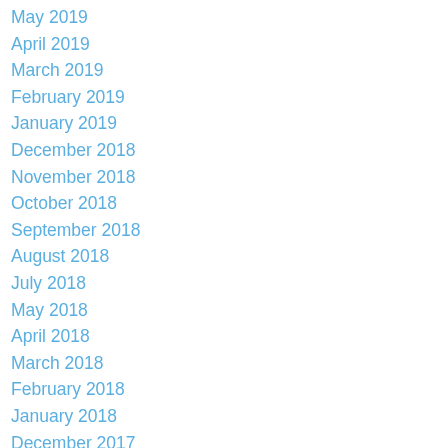May 2019
April 2019
March 2019
February 2019
January 2019
December 2018
November 2018
October 2018
September 2018
August 2018
July 2018
May 2018
April 2018
March 2018
February 2018
January 2018
December 2017
November 2017
October 2017
September 2017